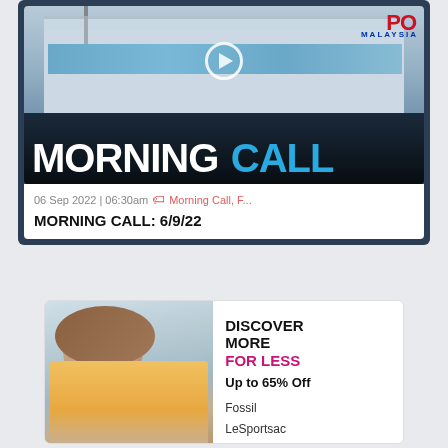[Figure (screenshot): Morning Call video thumbnail showing a building with Pos Malaysia logo and large text MORNING CALL overlaid]
06 Sep 2022 | 06:30am  Morning Call, F...
MORNING CALL: 6/9/22
[Figure (photo): Advertisement showing a woman with long hair wearing yellow and purple outfit, with text DISCOVER MORE FOR LESS, Up to 65% Off, Fossil, LeSportsac, Timberland]